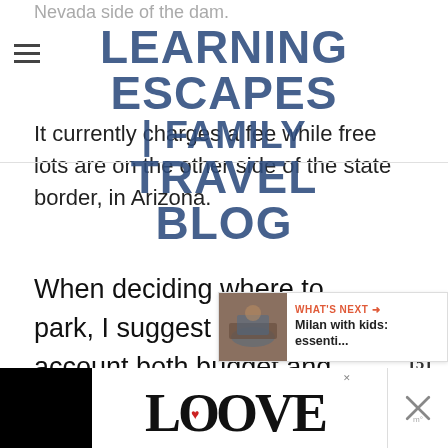Nevada side of the dam.
[Figure (logo): Learning Escapes Family Travel Blog logo overlay in dark blue bold text]
It currently charges a fee while free lots are on the other side of the state border, in Arizona.
When deciding where to park, I suggest you take into account both budget and location.
[Figure (infographic): Social sidebar with heart button, share count 151, and share icon]
[Figure (infographic): What's Next card: Milan with kids: essenti... with thumbnail image of canal]
[Figure (infographic): Advertisement banner at bottom with LOOVE stylized text logo and close buttons]